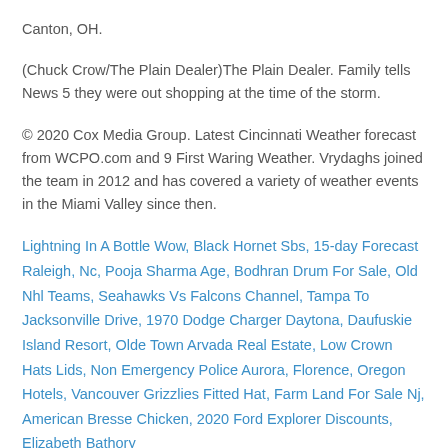Canton, OH.
(Chuck Crow/The Plain Dealer)The Plain Dealer. Family tells News 5 they were out shopping at the time of the storm.
© 2020 Cox Media Group. Latest Cincinnati Weather forecast from WCPO.com and 9 First Waring Weather. Vrydaghs joined the team in 2012 and has covered a variety of weather events in the Miami Valley since then.
Lightning In A Bottle Wow, Black Hornet Sbs, 15-day Forecast Raleigh, Nc, Pooja Sharma Age, Bodhran Drum For Sale, Old Nhl Teams, Seahawks Vs Falcons Channel, Tampa To Jacksonville Drive, 1970 Dodge Charger Daytona, Daufuskie Island Resort, Olde Town Arvada Real Estate, Low Crown Hats Lids, Non Emergency Police Aurora, Florence, Oregon Hotels, Vancouver Grizzlies Fitted Hat, Farm Land For Sale Nj, American Bresse Chicken, 2020 Ford Explorer Discounts, Elizabeth Bathory